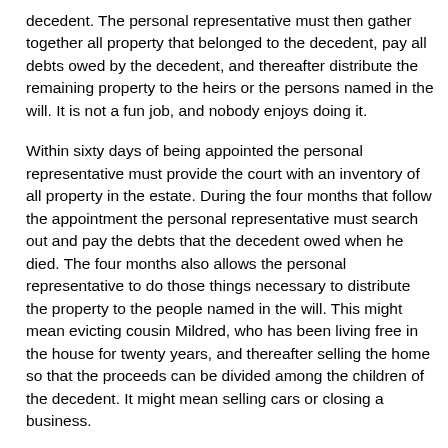decedent. The personal representative must then gather together all property that belonged to the decedent, pay all debts owed by the decedent, and thereafter distribute the remaining property to the heirs or the persons named in the will. It is not a fun job, and nobody enjoys doing it.
Within sixty days of being appointed the personal representative must provide the court with an inventory of all property in the estate. During the four months that follow the appointment the personal representative must search out and pay the debts that the decedent owed when he died. The four months also allows the personal representative to do those things necessary to distribute the property to the people named in the will. This might mean evicting cousin Mildred, who has been living free in the house for twenty years, and thereafter selling the home so that the proceeds can be divided among the children of the decedent. It might mean selling cars or closing a business.
After the petition is filed, the lawyer sends a copy of it with a special notice to all the people named in the will and all the heirs that would have gotten property had there been no will